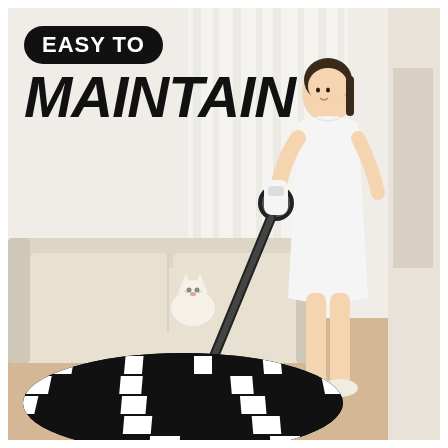[Figure (photo): A woman in a white sleeveless dress using a black and white cordless stick vacuum cleaner on a black and white optical illusion checkered circular rug in a bright living room with a beige sofa and a cat sitting on it. The scene is light and airy with white curtains in the background.]
EASY TO MAINTAIN